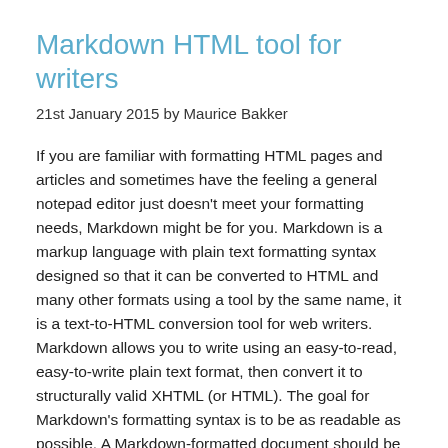Markdown HTML tool for writers
21st January 2015 by Maurice Bakker
If you are familiar with formatting HTML pages and articles and sometimes have the feeling a general notepad editor just doesn’t meet your formatting needs, Markdown might be for you. Markdown is a markup language with plain text formatting syntax designed so that it can be converted to HTML and many other formats using a tool by the same name, it is a text-to-HTML conversion tool for web writers. Markdown allows you to write using an easy-to-read, easy-to-write plain text format, then convert it to structurally valid XHTML (or HTML). The goal for Markdown’s formatting syntax is to be as readable as possible. A Markdown-formatted document should be publishable as-is, as plain text, without looking like